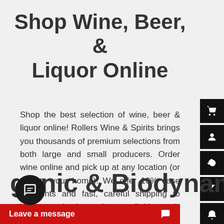Shop Wine, Beer, & Liquor Online
Shop the best selection of wine, beer & liquor online! Rollers Wine & Spirits brings you thousands of premium selections from both large and small producers. Order wine online and pick up at any location (or ship to your home)! We offer 10% case discounts and fast, careful shipping to bring you the best wines available ready to buy online.
ganic & Biodynamic